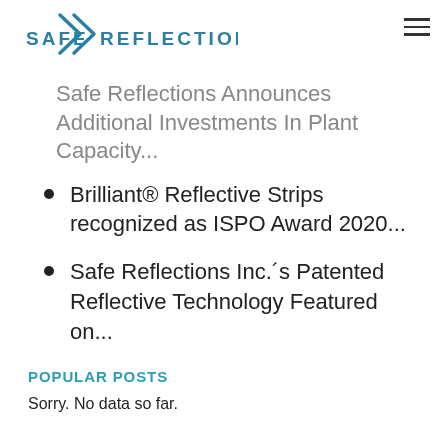SAFE REFLECTIONS
Safe Reflections Announces Additional Investments In Plant Capacity...
Brilliant® Reflective Strips recognized as ISPO Award 2020...
Safe Reflections Inc.'s Patented Reflective Technology Featured on...
POPULAR POSTS
Sorry. No data so far.